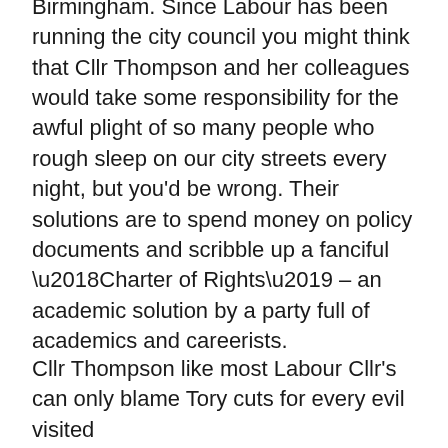Birmingham. Since Labour has been running the city council you might think that Cllr Thompson and her colleagues would take some responsibility for the awful plight of so many people who rough sleep on our city streets every night, but you'd be wrong. Their solutions are to spend money on policy documents and scribble up a fanciful ‘Charter of Rights’ – an academic solution by a party full of academics and careerists.
Cllr Thompson like most Labour Cllr’s can only blame Tory cuts for every evil visited